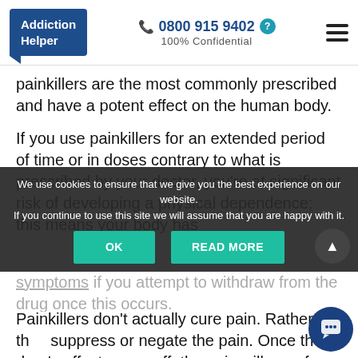Addiction Helper | 0800 915 9402 | 100% Confidential
painkillers are the most commonly prescribed and have a potent effect on the human body.
If you use painkillers for an extended period of time or in doses contrary to what is prescribed by your doctor, you're at significant risk of developing a physical dependence; this means your body has
symptoms if you attempt to withdraw from the drug once this occurs.
Painkillers don't actually cure pain. Rather, they suppress or negate the pain. Once the drug's effects wear off, the pain will resurface, unless
We use cookies to ensure that we give you the best experience on our website. If you continue to use this site we will assume that you are happy with it.